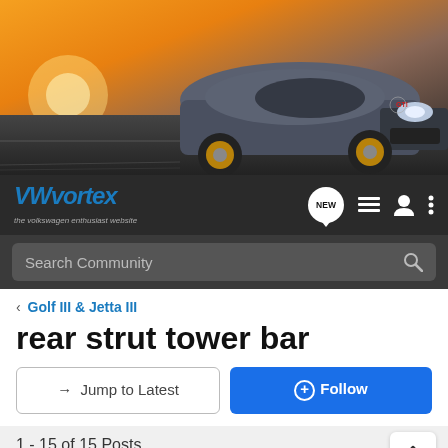[Figure (photo): Hero image of a VW GTI car driving at sunset/dusk, viewed from front-left angle, with motion blur background]
VWvortex – the volkswagen enthusiast website
Search Community
< Golf III & Jetta III
rear strut tower bar
→ Jump to Latest
+ Follow
1 - 15 of 15 Posts
A3VWGOLF · Registered
Joined Jun 29, 2001 · 2,134 Posts